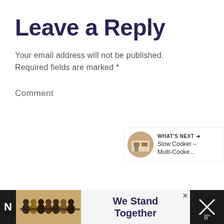Leave a Reply
Your email address will not be published. Required fields are marked *
Comment
[Figure (screenshot): Comment text area input box with resize handle, social like button (heart, count 1) and share button on the right side, and a 'What's Next' panel showing Slow Cooker – Multi-Cooke...]
[Figure (photo): Advertisement banner at the bottom: group of people with arms around each other, text 'We Stand Together', close button, and a dark right panel with an X and temperature icon]